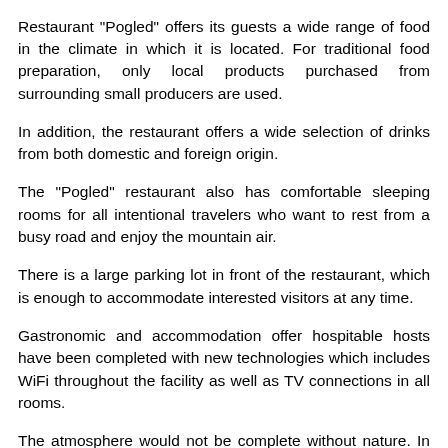Restaurant "Pogled" offers its guests a wide range of food in the climate in which it is located. For traditional food preparation, only local products purchased from surrounding small producers are used. In addition, the restaurant offers a wide selection of drinks from both domestic and foreign origin. The "Pogled" restaurant also has comfortable sleeping rooms for all intentional travelers who want to rest from a busy road and enjoy the mountain air. There is a large parking lot in front of the restaurant, which is enough to accommodate interested visitors at any time. Gastronomic and accommodation offer hospitable hosts have been completed with new technologies which includes WiFi throughout the facility as well as TV connections in all rooms. The atmosphere would not be complete without nature. In this regard, the hosts arranged a beautiful park next to the building itself. In the immediate vicinity there are several well-